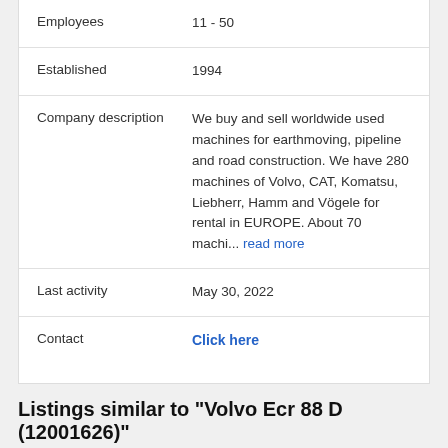| Employees | 11 - 50 |
| Established | 1994 |
| Company description | We buy and sell worldwide used machines for earthmoving, pipeline and road construction. We have 280 machines of Volvo, CAT, Komatsu, Liebherr, Hamm and Vögele for rental in EUROPE. About 70 machi... read more |
| Last activity | May 30, 2022 |
| Contact | Click here |
Listings similar to "Volvo Ecr 88 D (12001626)"
[Figure (photo): Partial image of a machine listing, with image badge showing 28 photos]